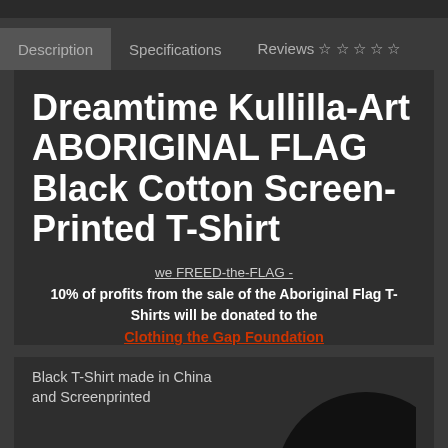Description | Specifications | Reviews ☆☆☆☆☆
Dreamtime Kullilla-Art ABORIGINAL FLAG Black Cotton Screen-Printed T-Shirt
we FREED-the-FLAG -
10% of profits from the sale of the Aboriginal Flag T-Shirts will be donated to the
Clothing the Gap Foundation
Black T-Shirt made in China and Screenprinted
[Figure (logo): Circular logo with text HINGTON THE visible, black circle with white text]